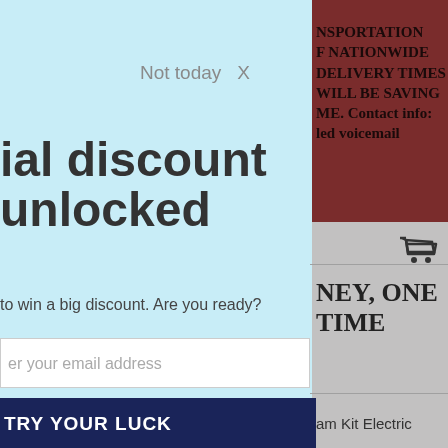Not today  X
ial discount unlocked
to win a big discount. Are you ready?
er your email address
TRY YOUR LUCK
heel only once. claim your coupon!
NSPORTATION F NATIONWIDE DELIVERY TIMES WILL BE SAVING ME. Contact info: led voicemail
[Figure (other): Shopping cart icon]
NEY, ONE TIME
am Kit Electric